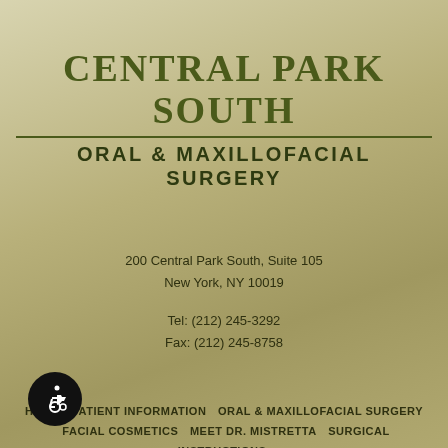CENTRAL PARK SOUTH
ORAL & MAXILLOFACIAL SURGERY
200 Central Park South, Suite 105
New York, NY 10019
Tel: (212) 245-3292
Fax: (212) 245-8758
HOME   PATIENT INFORMATION   ORAL & MAXILLOFACIAL SURGERY   FACIAL COSMETICS   MEET DR. MISTRETTA   SURGICAL INSTRUCTIONS   REFERRING DOCTORS   CONTACT US   DISCLAIMER   SITEMAP
Dental Website Design by PBHS © 2022
[Figure (illustration): Wheelchair accessibility icon — white wheelchair symbol on black circle]